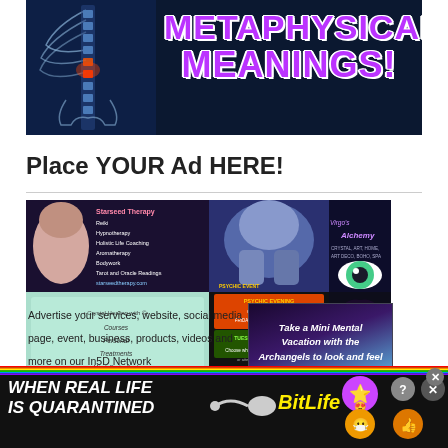[Figure (illustration): Dark blue banner with spine/skeleton X-ray image on left and bold purple text 'METAPHYSICAL MEANINGS!' on right]
Place YOUR Ad HERE!
[Figure (photo): Collage of multiple advertisement images for holistic therapy, psychic events, Virgo's Alchemy, chakra healing, and Archangels mini mental vacation]
Advertise your services, website, social media page, event, business, products, videos and more on our In5D Network for as little as $1 a day! VISIT in5d.us FOR MORE INFO
[Figure (illustration): Take a Mini Mental Vacation with the Archangels to look and feel refreshed - promotional ad with cosmic background]
[Figure (advertisement): BitLife game ad with rainbow bar, text 'WHEN REAL LIFE IS QUARANTINED' and BitLife logo with emoji characters]